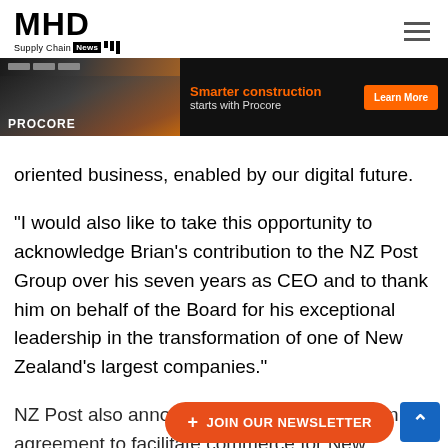MHD Supply Chain News
[Figure (photo): Procore advertisement banner: construction workers in orange vests and hard hats with text 'Smarter construction starts with Procore' and a Learn More button]
oriented business, enabled by our digital future. “I would also like to take this opportunity to acknowledge Brian’s contribution to the NZ Post Group over his seven years as CEO and to thank him on behalf of the Board for his exceptional leadership in the transformation of one of New Zealand’s largest companies.” NZ Post also announced that it had signed an agreement to facilitate commerce for New Zealand’s companies looking to d… The agreement with th…